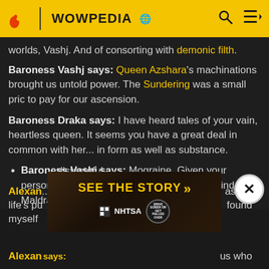WOWPEDIA
worlds, Vashj. And of consorting with demonic filth.
Baroness Vashj says: Queen Azshara's machinations brought us untold power. The Sundering was a small price to pay for our ascension.
Baroness Draka says: I have heard tales of your vain, heartless queen. It seems you have a great deal in common with her... in form as well as substance.
Baroness Vashj says: Mograine. Given your personal history with the undead, you must find Maldraxxus... distasteful.
Alexan... as my life's pu... found myself...
Alexan...says:...us who